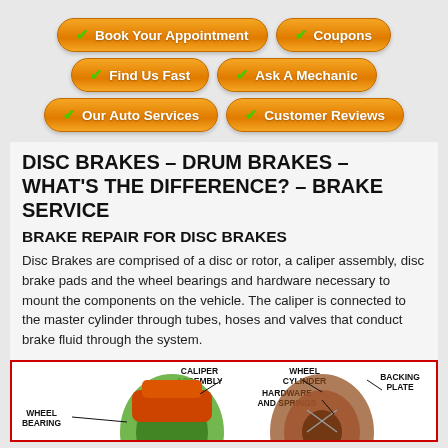[Figure (infographic): Six orange rounded-rectangle buttons with green checkmarks: Book Your Appointment, Coupons, Find Us Fast, Ask A Mechanic, Our Auto Services, Customer Reviews]
DISC BRAKES – DRUM BRAKES – WHAT'S THE DIFFERENCE? – BRAKE SERVICE
BRAKE REPAIR FOR DISC BRAKES
Disc Brakes are comprised of a disc or rotor, a caliper assembly, disc brake pads and the wheel bearings and hardware necessary to mount the components on the vehicle. The caliper is connected to the master cylinder through tubes, hoses and valves that conduct brake fluid through the system.
[Figure (engineering-diagram): Diagram of disc brake and drum brake components labeled: Wheel Bearing, Caliper Assembly, Wheel Cylinder, Hardware and Springs, Backing Plate]